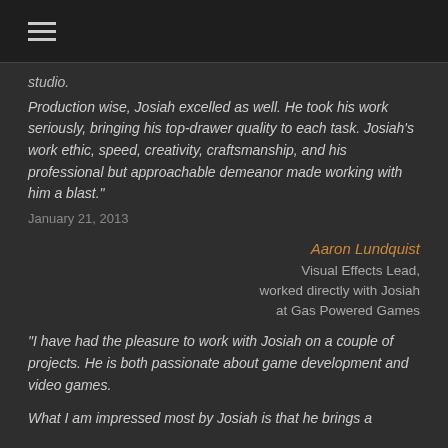≡
studio.
Production wise, Josiah excelled as well. He took his work seriously, bringing his top-drawer quality to each task. Josiah's work ethic, speed, creativity, craftsmanship, and his professional but approachable demeanor made working with him a blast."
January 21, 2013
Aaron Lundquist
Visual Effects Lead, worked directly with Josiah at Gas Powered Games
"I have had the pleasure to work with Josiah on a couple of projects. He is both passionate about game development and video games.
What I am impressed most by Josiah is that he brings a